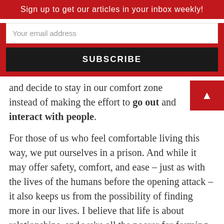Sign up to get our articles in your inbox weekly!
Your email address
SUBSCRIBE
and decide to stay in our comfort zone instead of making the effort to go out and interact with people.
For those of us who feel comfortable living this way, we put ourselves in a prison.  And while it may offer safety, comfort, and ease – just as with the lives of the humans before the opening attack – it also keeps us from the possibility of finding more in our lives.  I believe that life is about relationships, and we're all the poorer for forming less and less intimate ones.  Despite all the pain and hassle of developing relationships, we're all the more richer for doing so – and all the more freer from our shackles of confinement.